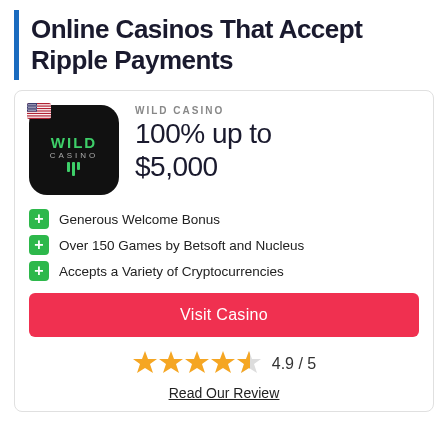Online Casinos That Accept Ripple Payments
[Figure (logo): Wild Casino app icon logo — black rounded square with green 'WILD' text, 'CASINO' subtitle, decorative lines, and a US flag overlay in the top-left corner.]
WILD CASINO
100% up to $5,000
Generous Welcome Bonus
Over 150 Games by Betsoft and Nucleus
Accepts a Variety of Cryptocurrencies
Visit Casino
4.9 / 5
Read Our Review